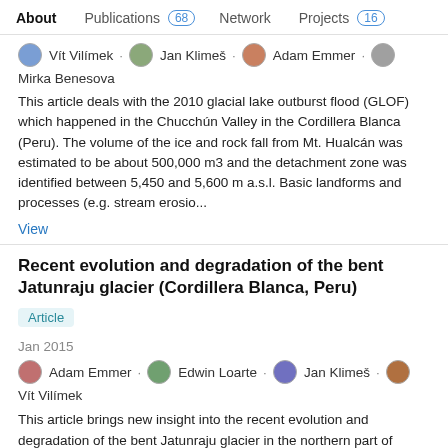About  Publications 68  Network  Projects 16
Vít Vilímek · Jan Klimeš · Adam Emmer · Mirka Benesova
This article deals with the 2010 glacial lake outburst flood (GLOF) which happened in the Chucchún Valley in the Cordillera Blanca (Peru). The volume of the ice and rock fall from Mt. Hualcán was estimated to be about 500,000 m3 and the detachment zone was identified between 5,450 and 5,600 m a.s.l. Basic landforms and processes (e.g. stream erosio...
View
Recent evolution and degradation of the bent Jatunraju glacier (Cordillera Blanca, Peru)
Article
Jan 2015
Adam Emmer · Edwin Loarte · Jan Klimeš · Vít Vilímek
This article brings new insight into the recent evolution and degradation of the bent Jatunraju glacier in the northern part of